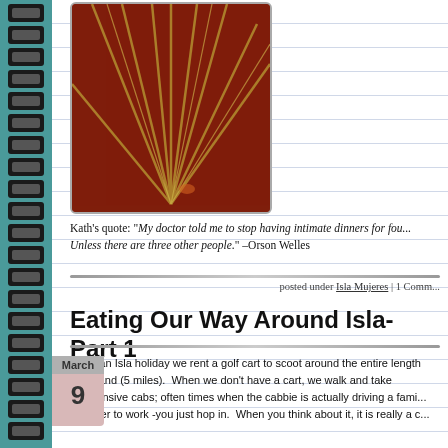[Figure (photo): Close-up photo of a thatched umbrella or leaf structure with radiating straw/reed ribs on a dark reddish-brown background]
Kath's quote: "My doctor told me to stop having intimate dinners for four. Unless there are three other people." –Orson Welles
posted under Isla Mujeres | 1 Comm...
Eating Our Way Around Isla-Part 1
Once an Isla holiday we rent a golf cart to scoot around the entire length of the island (5 miles).  When we don't have a cart, we walk and take inexpensive cabs; often times when the cabbie is actually driving a family member to work -you just hop in.  When you think about it, it is really a c...